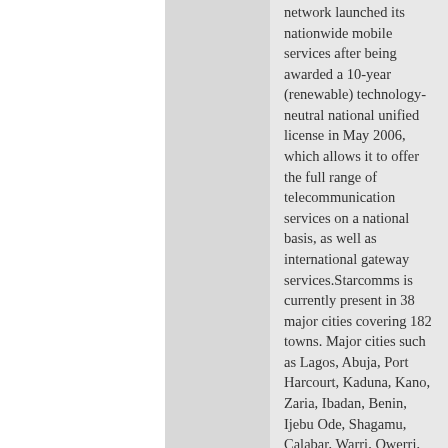network launched its nationwide mobile services after being awarded a 10-year (renewable) technology-neutral national unified license in May 2006, which allows it to offer the full range of telecommunication services on a national basis, as well as international gateway services.Starcomms is currently present in 38 major cities covering 182 towns. Major cities such as Lagos, Abuja, Port Harcourt, Kaduna, Kano, Zaria, Ibadan, Benin, Ijebu Ode, Shagamu, Calabar, Warri, Owerri, Oyo, Uyo, Ogbomosho, Abeokuta, Aba, Onitsha, Asaba, Maiduguri, Sapele, Umuahia, Nnewi, Awka, Rano, Ilorin,Katsina, Jos, Bauchi,  Enugu, Agbor, Suleja, Jaji, Gwagwalada, Ikot ekpene, Oron and Eket are on the network. In 2007 Starcomms was named both Nigerian Telecoms Company of the Year (Nigeria Telecoms Awards) and